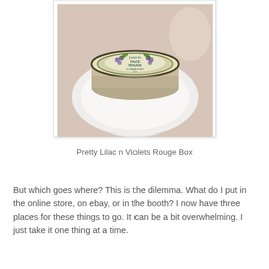[Figure (photo): A vintage Lustrite Face Rouge tin with lilac and violet floral decoration, sitting on a white plate against a light background.]
Pretty Lilac n Violets Rouge Box
But which goes where? This is the dilemma. What do I put in the online store, on ebay, or in the booth? I now have three places for these things to go. It can be a bit overwhelming. I just take it one thing at a time.